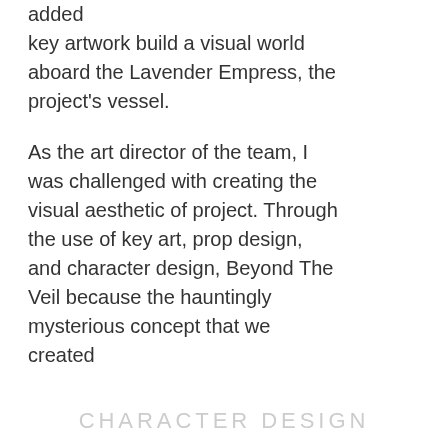added key artwork build a visual world aboard the Lavender Empress, the project's vessel.
As the art director of the team, I was challenged with creating the visual aesthetic of project. Through the use of key art, prop design, and character design, Beyond The Veil because the hauntingly mysterious concept that we created
CHARACTER DESIGN
A series of 6 characters were drafted to drive the narrative of Beyond the Veil and its underlying mystery. These casted characters would have scripted dialogue that